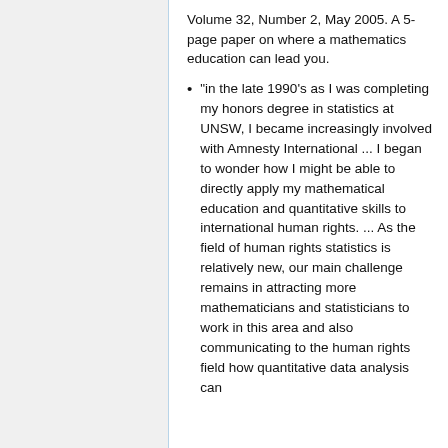Volume 32, Number 2, May 2005. A 5-page paper on where a mathematics education can lead you.
"in the late 1990's as I was completing my honors degree in statistics at UNSW, I became increasingly involved with Amnesty International ... I began to wonder how I might be able to directly apply my mathematical education and quantitative skills to international human rights. ... As the field of human rights statistics is relatively new, our main challenge remains in attracting more mathematicians and statisticians to work in this area and also communicating to the human rights field how quantitative data analysis can